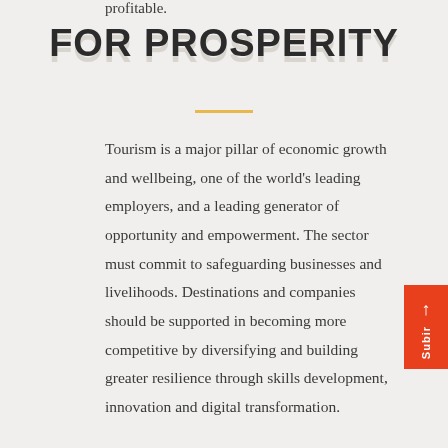profitable.
FOR PROSPERITY
Tourism is a major pillar of economic growth and wellbeing, one of the world's leading employers, and a leading generator of opportunity and empowerment. The sector must commit to safeguarding businesses and livelihoods. Destinations and companies should be supported in becoming more competitive by diversifying and building greater resilience through skills development, innovation and digital transformation.